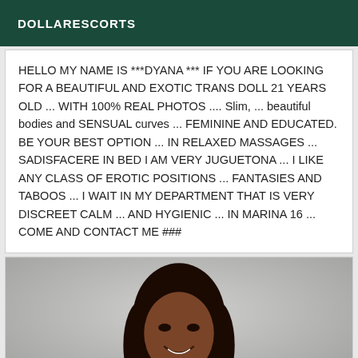DOLLARESCORTS
HELLO MY NAME IS ***DYANA *** IF YOU ARE LOOKING FOR A BEAUTIFUL AND EXOTIC TRANS DOLL 21 YEARS OLD ... WITH 100% REAL PHOTOS .... Slim, ... beautiful bodies and SENSUAL curves ... FEMININE AND EDUCATED. BE YOUR BEST OPTION ... IN RELAXED MASSAGES ... SADISFACERE IN BED I AM VERY JUGUETONA ... I LIKE ANY CLASS OF EROTIC POSITIONS ... FANTASIES AND TABOOS ... I WAIT IN MY DEPARTMENT THAT IS VERY DISCREET CALM ... AND HYGIENIC ... IN MARINA 16 ... COME AND CONTACT ME ###
[Figure (photo): Portrait photo of a woman with dark hair, smiling, against a light gray background]